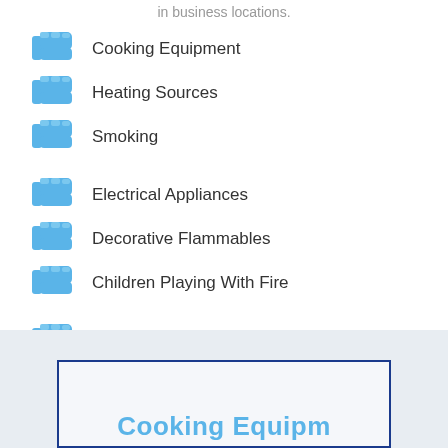in business locations.
Cooking Equipment
Heating Sources
Smoking
Electrical Appliances
Decorative Flammables
Children Playing With Fire
Faulty House Wiring
Outdoor Grilles
Flammable Liquids
Cooking Equipment